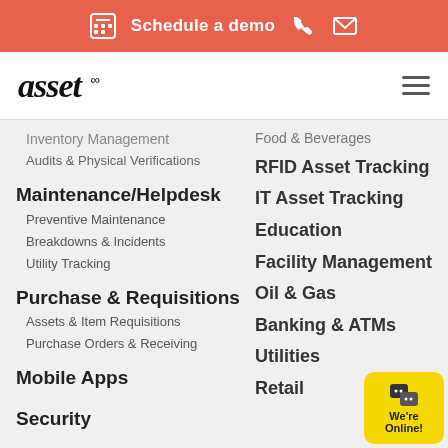Schedule a demo
[Figure (logo): asset infinity logo with hamburger menu icon]
Inventory Management
Audits & Physical Verifications
Maintenance/Helpdesk
Preventive Maintenance
Breakdowns & Incidents
Utility Tracking
Purchase & Requisitions
Assets & Item Requisitions
Purchase Orders & Receiving
Mobile Apps
Security
Food & Beverages
RFID Asset Tracking
IT Asset Tracking
Education
Facility Management
Oil & Gas
Banking & ATMs
Utilities
Retail